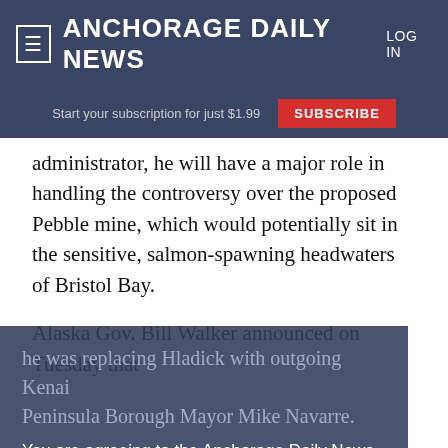≡ ANCHORAGE DAILY NEWS   LOG IN
Start your subscription for just $1.99   SUBSCRIBE
administrator, he will have a major role in handling the controversy over the proposed Pebble mine, which would potentially sit in the sensitive, salmon-spawning headwaters of Bristol Bay.
Alaska Gov. Bill Walker announced on Tuesday that
he was replacing Hladick with outgoing Kenai Peninsula Borough Mayor Mike Navarre.
You are agreeing to the Anchorage Daily News Terms of Use by continuing to browse this site.
Terms of Use
Appointment of an Alaskan to the Region 10 position is a victory for the state's congressional
I Accept